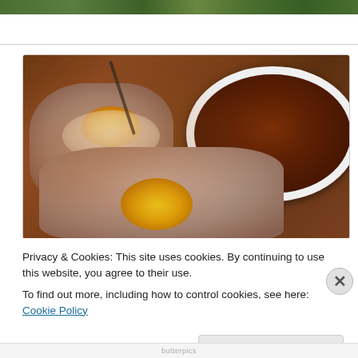[Figure (photo): Top partial photo strip showing green foliage/herbs at the top of the page]
[Figure (photo): Food photograph showing scotch eggs cut in half on a wooden board with a white ramekin of brown dipping sauce/gravy and a fork]
Privacy & Cookies: This site uses cookies. By continuing to use this website, you agree to their use.
To find out more, including how to control cookies, see here: Cookie Policy
butterpics